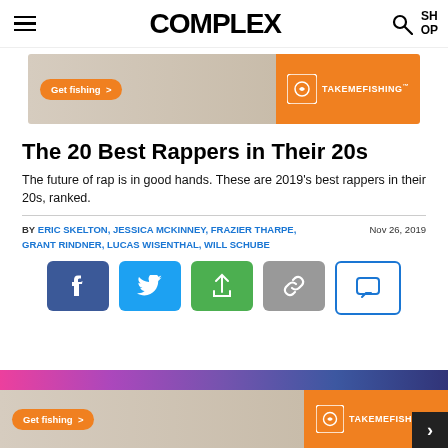COMPLEX
[Figure (screenshot): TakeMeFishing advertisement banner with woman holding fishing rod and orange branding]
The 20 Best Rappers in Their 20s
The future of rap is in good hands. These are 2019's best rappers in their 20s, ranked.
BY ERIC SKELTON, JESSICA MCKINNEY, FRAZIER THARPE, GRANT RINDNER, LUCAS WISENTHAL, WILL SCHUBE   Nov 26, 2019
[Figure (screenshot): Social media sharing buttons: Facebook, Twitter, Share, Link, Comment]
[Figure (screenshot): TakeMeFishing advertisement banner at the bottom of the page]